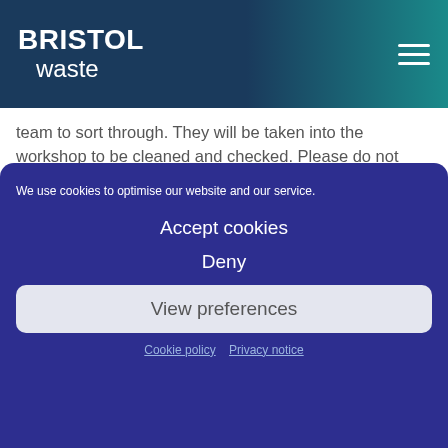BRISTOL waste
team to sort through. They will be taken into the workshop to be cleaned and checked. Please do not take items from the drop off point.
We use cookies to optimise our website and our service.
Accept cookies
Deny
View preferences
Cookie policy  Privacy notice